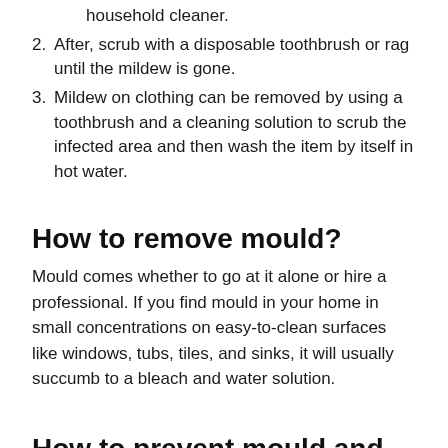household cleaner.
2. After, scrub with a disposable toothbrush or rag until the mildew is gone.
3. Mildew on clothing can be removed by using a toothbrush and a cleaning solution to scrub the infected area and then wash the item by itself in hot water.
How to remove mould?
Mould comes whether to go at it alone or hire a professional. If you find mould in your home in small concentrations on easy-to-clean surfaces like windows, tubs, tiles, and sinks, it will usually succumb to a bleach and water solution.
How to prevent mould and mildew?
The primary way to prevent mould and mildew in your home is to eliminate moisture and maintain a good standard of housekeeping. As in any battle, it's best to invest in prevention